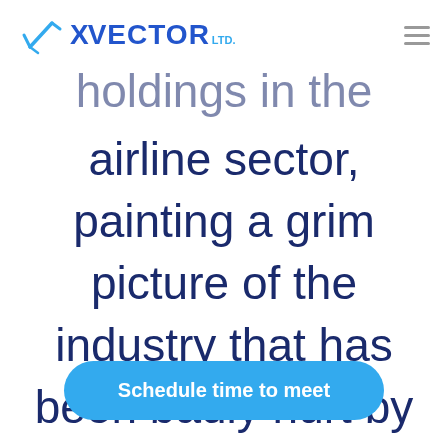[Figure (logo): XVector Ltd logo with airplane icon and stylized text in blue]
holdings in the airline sector, painting a grim picture of the industry that has been badly hurt by the COVID-19
Schedule time to meet